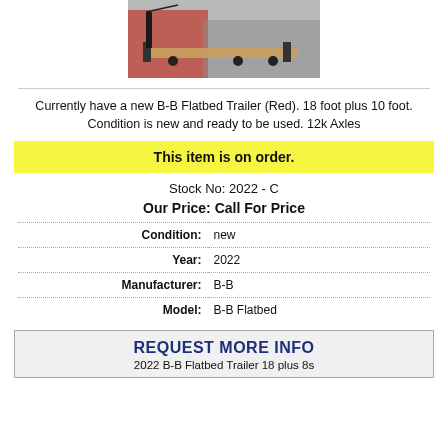[Figure (photo): Photo of a red B-B Flatbed Trailer parked outdoors near a building]
Currently have a new B-B Flatbed Trailer (Red). 18 foot plus 10 foot. Condition is new and ready to be used. 12k Axles
This item is on order.
Stock No: 2022 - C
Our Price: Call For Price
| Condition: | new |
| Year: | 2022 |
| Manufacturer: | B-B |
| Model: | B-B Flatbed |
REQUEST MORE INFO
2022 B-B Flatbed Trailer 18 plus 8s